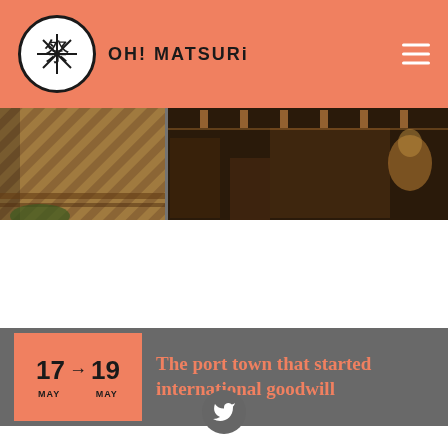OH! MATSURi
[Figure (photo): Dark interior photo of what appears to be a Japanese temple or festival building with wooden structures and decorations, split into two panels]
17 → 19 MAY MAY  The port town that started international goodwill